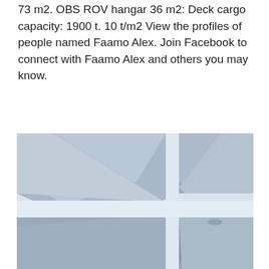73 m2. OBS ROV hangar 36 m2: Deck cargo capacity: 1900 t. 10 t/m2 View the profiles of people named Faamo Alex. Join Facebook to connect with Faamo Alex and others you may know.
[Figure (photo): A photo taken from below looking up at four tall rectangular building or structure facades (grey/blue tones) arranged around a cross-shaped gap of sky in the center, giving a symmetric worm's-eye view.]